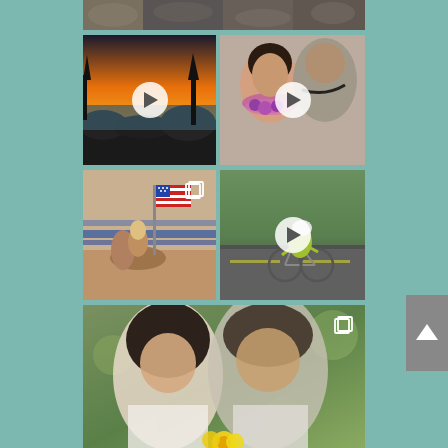[Figure (photo): Top strip: rocks/stones close-up photo in grayscale]
[Figure (photo): Sunset over rocky coast with orange sky, video thumbnail with play button]
[Figure (photo): Elderly couple embracing, woman with flower lei, video thumbnail with play button]
[Figure (photo): Rodeo scene with American flag and horse racing, album icon overlay]
[Figure (photo): Cyclist in yellow jacket riding road bike, video thumbnail with play button]
[Figure (photo): Couple portrait outdoors, blurred bokeh background, album icon overlay]